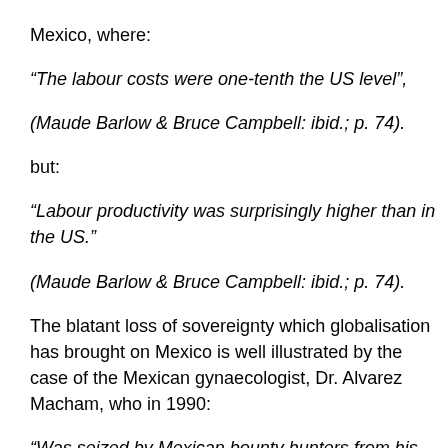Mexico, where:
“The labour costs were one-tenth the US level”,
(Maude Barlow & Bruce Campbell: ibid.; p. 74).
but:
“Labour productivity was surprisingly higher than in the US.”
(Maude Barlow & Bruce Campbell: ibid.; p. 74).
The blatant loss of sovereignty which globalisation has brought on Mexico is well illustrated by the case of the Mexican gynaecologist, Dr. Alvarez Macham, who in 1990:
“Was seized by Mexican bounty hunters from his office in Guadalajara and delivered to (US — Ed.) federal agents